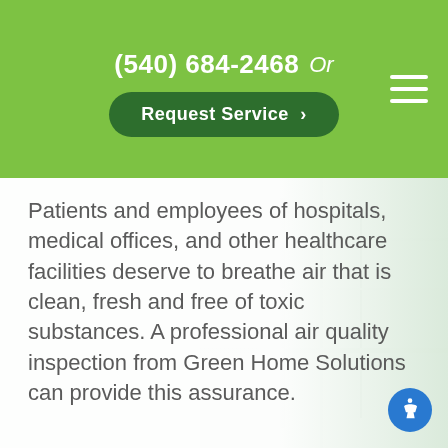(540) 684-2468  Or  Request Service >
Patients and employees of hospitals, medical offices, and other healthcare facilities deserve to breathe air that is clean, fresh and free of toxic substances. A professional air quality inspection from Green Home Solutions can provide this assurance.